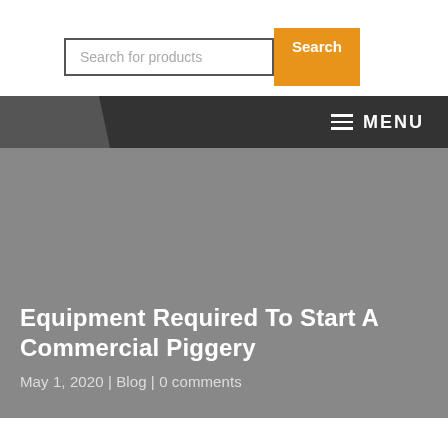[Figure (screenshot): Search bar with text input 'Search for products' and orange 'Search' button]
MENU
Equipment Required To Start A Commercial Piggery
May 1, 2020 | Blog | 0 comments